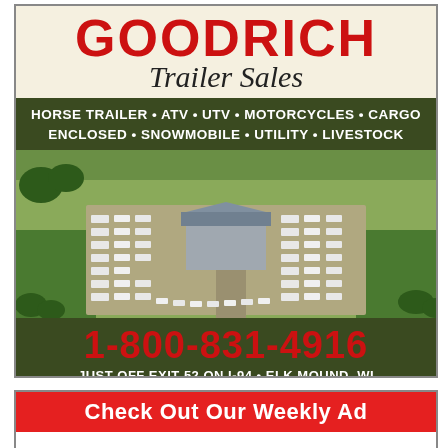GOODRICH Trailer Sales
HORSE TRAILER • ATV • UTV • MOTORCYCLES • CARGO ENCLOSED • SNOWMOBILE • UTILITY • LIVESTOCK
[Figure (photo): Aerial view of a large trailer sales lot with many trailers and vehicles arranged in rows around a central building surrounded by green fields]
1-800-831-4916
JUST OFF EXIT 52 ON I-94 • ELK MOUND, WI
Check Out Our Weekly Ad